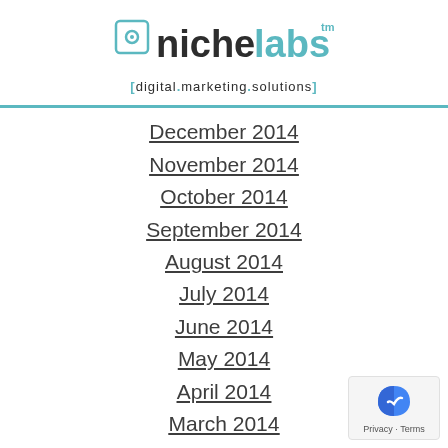[Figure (logo): Nichelabs logo with bracket icon, 'niche' in dark text, 'labs' in teal, trademark symbol, and tagline '[digital.marketing.solutions]']
December 2014
November 2014
October 2014
September 2014
August 2014
July 2014
June 2014
May 2014
April 2014
March 2014
February 2014
January 2014
December 2013
November 2013